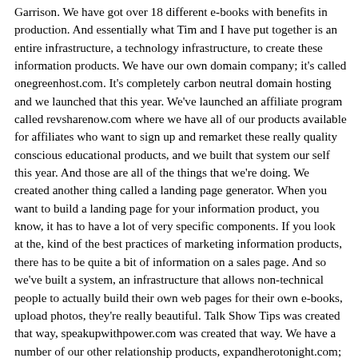Garrison. We have got over 18 different e-books with benefits in production. And essentially what Tim and I have put together is an entire infrastructure, a technology infrastructure, to create these information products. We have our own domain company; it's called onegreenhost.com. It's completely carbon neutral domain hosting and we launched that this year. We've launched an affiliate program called revsharenow.com where we have all of our products available for affiliates who want to sign up and remarket these really quality conscious educational products, and we built that system our self this year. And those are all of the things that we're doing. We created another thing called a landing page generator. When you want to build a landing page for your information product, you know, it has to have a lot of very specific components. If you look at the, kind of the best practices of marketing information products, there has to be quite a bit of information on a sales page. And so we've built a system, an infrastructure that allows non-technical people to actually build their own web pages for their own e-books, upload photos, they're really beautiful. Talk Show Tips was created that way, speakupwithpower.com was created that way. We have a number of our other relationship products, expandherotonight.com; those are all built with our landing page generator. So what Tim and I have done is essentially created a publishing division where we both take an expert and coach them entirely through the process of creating and launching their own e-book with benefits, as well as